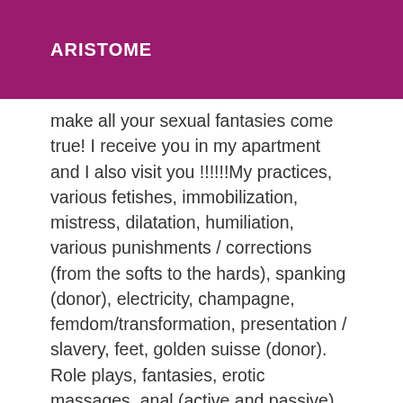ARISTOME
make all your sexual fantasies come true! I receive you in my apartment and I also visit you !!!!!!My practices, various fetishes, immobilization, mistress, dilatation, humiliation, various punishments / corrections (from the softs to the hards), spanking (donor), electricity, champagne, femdom/transformation, presentation / slavery, feet, golden suisse (donor). Role plays, fantasies, erotic massages, anal (active and passive) and prostate massage, GFE, tablet, intimate hair removal, anal sex (active and passive), 69, sucking (with and without condom) cock and testicles, deep throat, multiple ejaculations, extraball. I send the rest in sms I receive you in lingerie, lace and vinyl, I kiss you (better than your girlfriend) and set your body on fire. We will practice sex in all positions and you will be amazed at my know-how. Your desire becomes my desire. I am a slut always ready for soft or hard, available 24 hours a